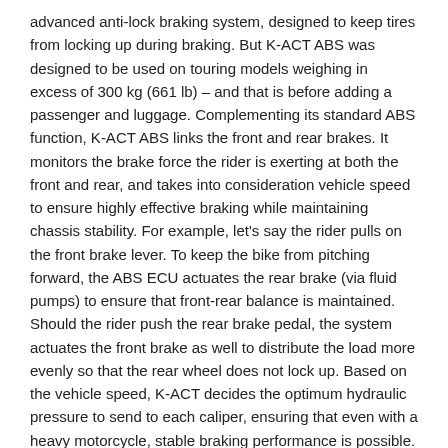advanced anti-lock braking system, designed to keep tires from locking up during braking. But K-ACT ABS was designed to be used on touring models weighing in excess of 300 kg (661 lb) – and that is before adding a passenger and luggage. Complementing its standard ABS function, K-ACT ABS links the front and rear brakes. It monitors the brake force the rider is exerting at both the front and rear, and takes into consideration vehicle speed to ensure highly effective braking while maintaining chassis stability. For example, let's say the rider pulls on the front brake lever. To keep the bike from pitching forward, the ABS ECU actuates the rear brake (via fluid pumps) to ensure that front-rear balance is maintained. Should the rider push the rear brake pedal, the system actuates the front brake as well to distribute the load more evenly so that the rear wheel does not lock up. Based on the vehicle speed, K-ACT decides the optimum hydraulic pressure to send to each caliper, ensuring that even with a heavy motorcycle, stable braking performance is possible.
Convenience